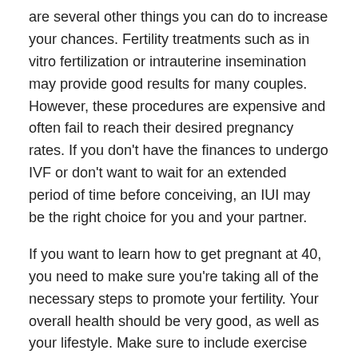are several other things you can do to increase your chances. Fertility treatments such as in vitro fertilization or intrauterine insemination may provide good results for many couples. However, these procedures are expensive and often fail to reach their desired pregnancy rates. If you don't have the finances to undergo IVF or don't want to wait for an extended period of time before conceiving, an IUI may be the right choice for you and your partner.
If you want to learn how to get pregnant at 40, you need to make sure you're taking all of the necessary steps to promote your fertility. Your overall health should be very good, as well as your lifestyle. Make sure to include exercise and a healthy diet with eating organic foods and drinking plenty of water each day. If you follow all of these tips, you should have great success in getting pregnant and giving birth to your new baby.
This entry was posted in General on January 13, 2021.